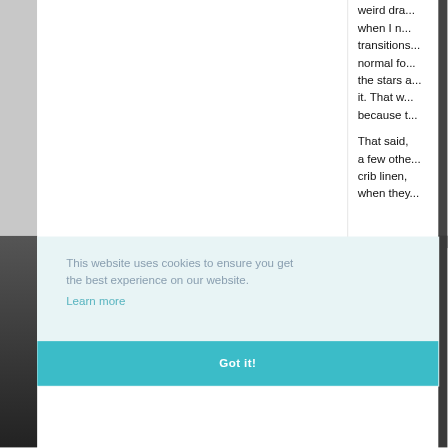weird dra... when I n... transitions... normal fo... the stars a... it. That w... because t...
That said, a few othe... crib linen, when they...
This website uses cookies to ensure you get the best experience on our website.
Learn more
Got it!